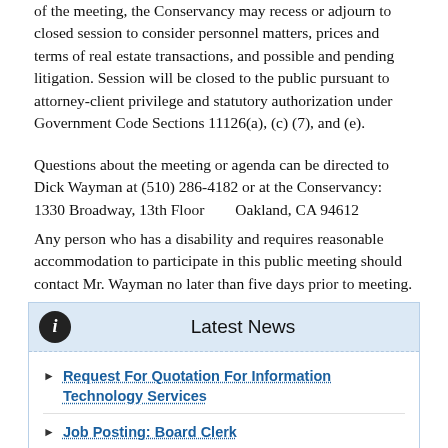of the meeting, the Conservancy may recess or adjourn to closed session to consider personnel matters, prices and terms of real estate transactions, and possible and pending litigation.  Session will be closed to the public pursuant to attorney-client privilege and statutory authorization under Government Code Sections 11126(a), (c) (7), and (e).
Questions about the meeting or agenda can be directed to Dick Wayman at (510) 286-4182 or at the Conservancy:   1330 Broadway, 13th Floor        Oakland, CA 94612
Any person who has a disability and requires reasonable accommodation to participate in this public meeting should contact Mr. Wayman no later than five days prior to meeting.
Latest News
Request For Quotation For Information Technology Services
Job Posting: Board Clerk